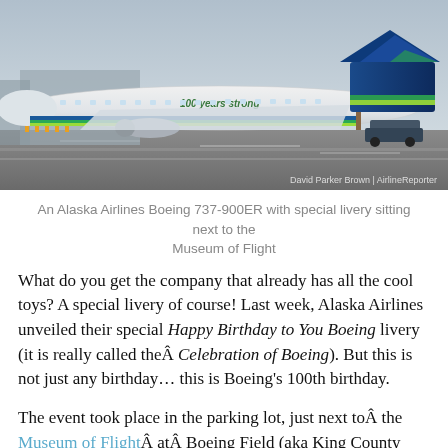[Figure (photo): Alaska Airlines Boeing 737-900ER with special '100 years strong' livery sitting on tarmac next to the Museum of Flight. The plane has a white body with blue and green tail, and '100 years strong' text on the fuselage. Photo credit: David Parker Brown | AirlineReporter]
An Alaska Airlines Boeing 737-900ER with special livery sitting next to the Museum of Flight
What do you get the company that already has all the cool toys? A special livery of course! Last week, Alaska Airlines unveiled their special Happy Birthday to You Boeing livery (it is really called theÂ Celebration of Boeing). But this is not just any birthday... this is Boeing's 100th birthday.
The event took place in the parking lot, just next toÂ the Museum of FlightÂ atÂ Boeing Field (aka King County International Airport). There were about 700 people who attended the event